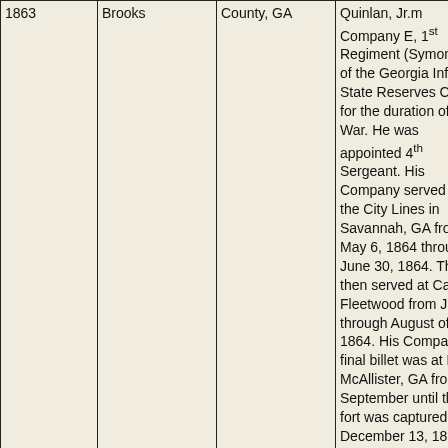| Year | Name | Location | Service Record |
| --- | --- | --- | --- |
| 1863 | Brooks | County, GA | Quinlan, Jr.m Company E, 1st Regiment (Symon's) of the Georgia Infantry State Reserves CSA for the duration of The War. He was appointed 4th Sergeant. His Company served at the City Lines in Savannah, GA from May 6, 1864 through June 30, 1864. They then served at Camp Fleetwood from July through August of 1864. His Company's final billet was at Fort McAllister, GA from September until the fort was captured on December 13, 1864 by Union General Sherman's forces. |
|  |  |  | James C. Barrs was 5' |